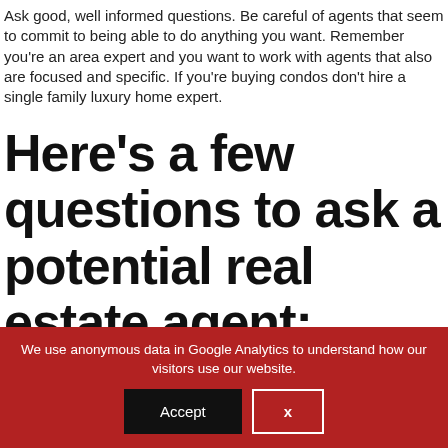Ask good, well informed questions. Be careful of agents that seem to commit to being able to do anything you want. Remember you're an area expert and you want to work with agents that also are focused and specific. If you're buying condos don't hire a single family luxury home expert.
Here's a few questions to ask a potential real estate agent:
We use anonymous data in Google Analytics to understand how our visitors use our website.